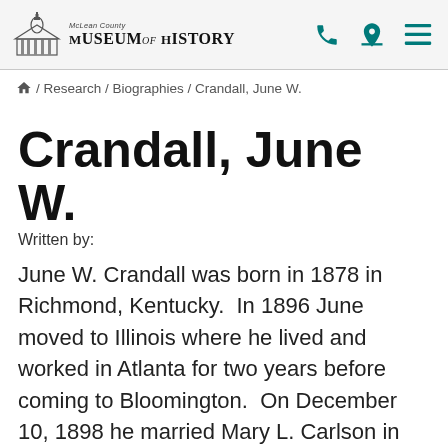McLean County Museum of History
/ Research / Biographies / Crandall, June W.
Crandall, June W.
Written by:
June W. Crandall was born in 1878 in Richmond, Kentucky.  In 1896 June moved to Illinois where he lived and worked in Atlanta for two years before coming to Bloomington.  On December 10, 1898 he married Mary L. Carlson in Bloomington.